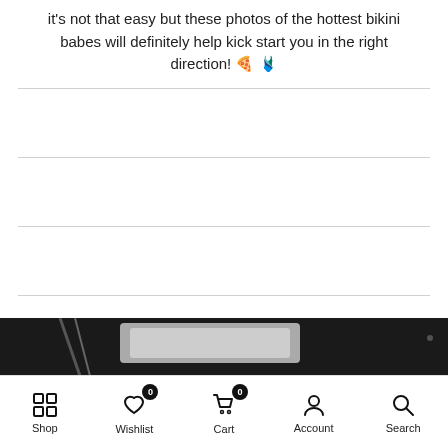it's not that easy but these photos of the hottest bikini babes will definitely help kick start you in the right direction! 🍕 👙
[Figure (photo): Dark/black image strip at the bottom of the content area, showing partial image of items on a dark background]
Shop  Wishlist 0  Cart 0  Account  Search